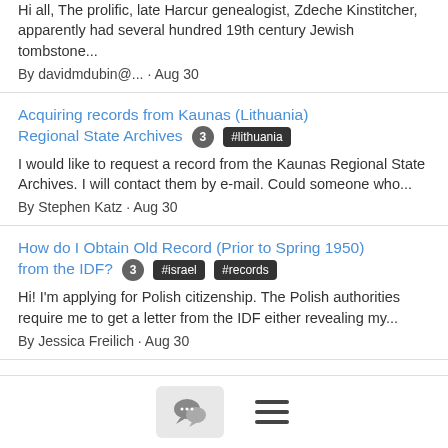Hi all, The prolific, late Harcur genealogist, Zdeche Kinstitcher, apparently had several hundred 19th century Jewish tombstone... By davidmdubin@... · Aug 30
Acquiring records from Kaunas (Lithuania) Regional State Archives
I would like to request a record from the Kaunas Regional State Archives. I will contact them by e-mail. Could someone who... By Stephen Katz · Aug 30
How do I Obtain Old Record (Prior to Spring 1950) from the IDF?
Hi! I'm applying for Polish citizenship. The Polish authorities require me to get a letter from the IDF either revealing my... By Jessica Freilich · Aug 30
David (ABRAMOWITZ ?)-Manager/owner of Dept. Store, Boston, early 20th cent.
According to family lore, my great grandfather's brother, David